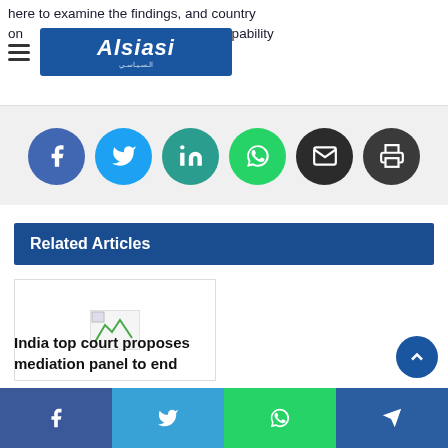here to examine the findings, and country on … to find out who holds culpability
[Figure (logo): Alsiasi website logo in blue box with hamburger menu]
[Figure (other): Social share buttons: Facebook (blue), Twitter (light blue), LinkedIn (teal), WhatsApp (green), Email (dark), Print (dark gray)]
Related Articles
[Figure (other): Broken image thumbnail placeholder]
India top court proposes mediation panel to end
[Figure (other): Bottom social share bar with Facebook, Twitter, WhatsApp, Telegram buttons]